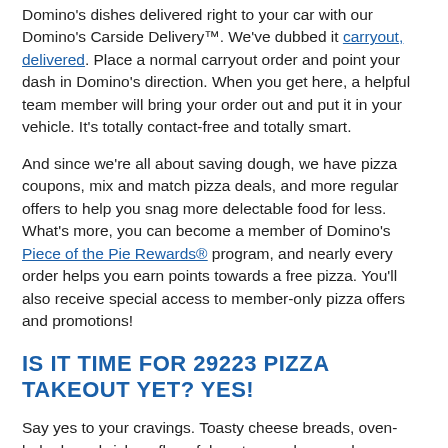Domino's dishes delivered right to your car with our Domino's Carside Delivery™. We've dubbed it carryout, delivered. Place a normal carryout order and point your dash in Domino's direction. When you get here, a helpful team member will bring your order out and put it in your vehicle. It's totally contact-free and totally smart.
And since we're all about saving dough, we have pizza coupons, mix and match pizza deals, and more regular offers to help you snag more delectable food for less. What's more, you can become a member of Domino's Piece of the Pie Rewards® program, and nearly every order helps you earn points towards a free pizza. You'll also receive special access to member-only pizza offers and promotions!
IS IT TIME FOR 29223 PIZZA TAKEOUT YET? YES!
Say yes to your cravings. Toasty cheese breads, oven-baked sandwiches, flavorful pastas, and so much more are waiting for you and your crew. Call the nearest Domino's pizza place in 29223, order online, or order from the free Domino's phone app for your delicious pizza delivery or carryout. You'll find the